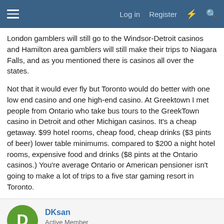≡  Log in  Register  ⚡  🔍
London gamblers will still go to the Windsor-Detroit casinos and Hamilton area gamblers will still make their trips to Niagara Falls, and as you mentioned there is casinos all over the states.

Not that it would ever fly but Toronto would do better with one low end casino and one high-end casino. At Greektown I met people from Ontario who take bus tours to the GreekTown casino in Detroit and other Michigan casinos. It's a cheap getaway. $99 hotel rooms, cheap food, cheap drinks ($3 pints of beer) lower table minimums. compared to $200 a night hotel rooms, expensive food and drinks ($8 pints at the Ontario casinos.) You're average Ontario or American pensioner isn't going to make a lot of trips to a five star gaming resort in Toronto.
DKsan
Active Member
Mar 7, 2013  #64